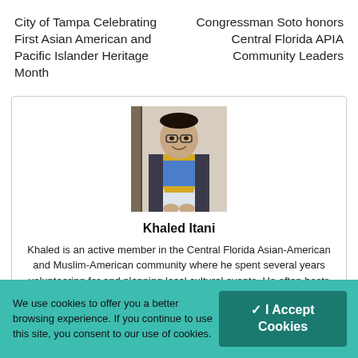City of Tampa Celebrating First Asian American and Pacific Islander Heritage Month
Congressman Soto honors Central Florida APIA Community Leaders
[Figure (photo): Portrait of Khaled Itani wearing graduation academic attire with blue and gold sash over white dress shirt]
Khaled Itani
Khaled is an active member in the Central Florida Asian-American and Muslim-American community where he spent several years volunteering for and planning local cultural events. He often hosts
We use cookies to offer you a better browsing experience. If you continue to use this site, you consent to our use of cookies.